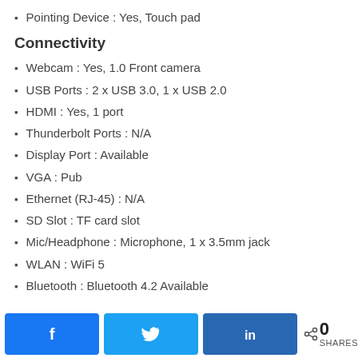Pointing Device : Yes, Touch pad
Connectivity
Webcam : Yes, 1.0 Front camera
USB Ports : 2 x USB 3.0, 1 x USB 2.0
HDMI : Yes, 1 port
Thunderbolt Ports : N/A
Display Port : Available
VGA : Pub
Ethernet (RJ-45) : N/A
SD Slot : TF card slot
Mic/Headphone : Microphone, 1 x 3.5mm jack
WLAN : WiFi 5
Bluetooth : Bluetooth 4.2 Available
Share buttons: Facebook, Twitter, LinkedIn | 0 SHARES